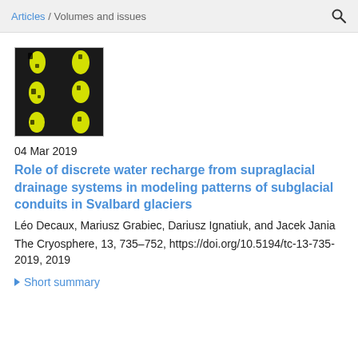Articles / Volumes and issues
[Figure (photo): Thumbnail grid of 6 satellite/map images showing glacier outlines highlighted in yellow on dark backgrounds]
04 Mar 2019
Role of discrete water recharge from supraglacial drainage systems in modeling patterns of subglacial conduits in Svalbard glaciers
Léo Decaux, Mariusz Grabiec, Dariusz Ignatiuk, and Jacek Jania
The Cryosphere, 13, 735–752, https://doi.org/10.5194/tc-13-735-2019, 2019
▶ Short summary